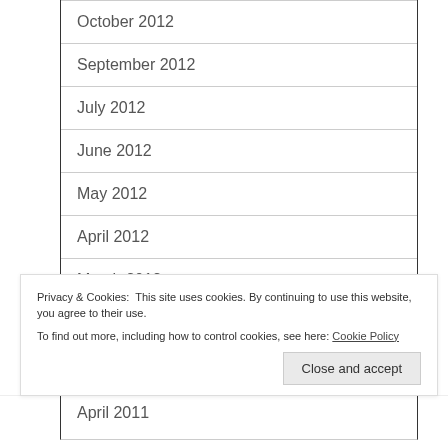October 2012
September 2012
July 2012
June 2012
May 2012
April 2012
March 2012
Privacy & Cookies: This site uses cookies. By continuing to use this website, you agree to their use. To find out more, including how to control cookies, see here: Cookie Policy
April 2011